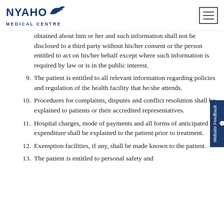NYAHO MEDICAL CENTRE
obtained about him or her and such information shall not be disclosed to a third party without his/her consent or the person entitled to act on his/her behalf except where such information is required by law or is in the public interest.
9. The patient is entitled to all relevant information regarding policies and regulation of the health facility that he/she attends.
10. Procedures for complaints, disputes and conflict resolution shall be explained to patients or their accredited representatives.
11. Hospital charges, mode of payments and all forms of anticipated expenditure shall be explained to the patient prior to treatment.
12. Exemption facilities, if any, shall be made known to the patient.
13. The patient is entitled to personal safety and